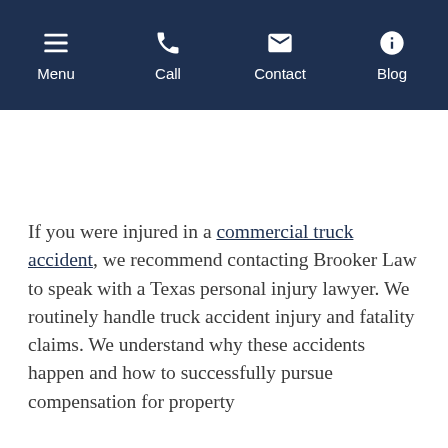Menu | Call | Contact | Blog
If you were injured in a commercial truck accident, we recommend contacting Brooker Law to speak with a Texas personal injury lawyer. We routinely handle truck accident injury and fatality claims. We understand why these accidents happen and how to successfully pursue compensation for property